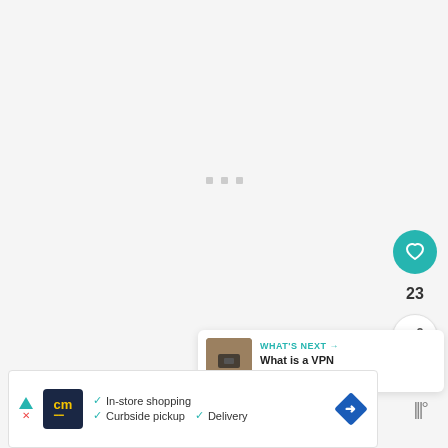[Figure (screenshot): Loading/placeholder area with three small gray dots in center on light gray background]
[Figure (infographic): Teal heart button with like count 23 and a white share button]
23
[Figure (screenshot): WHAT'S NEXT card with thumbnail and text: What is a VPN and why do...]
[Figure (screenshot): Advertisement banner: cm logo, In-store shopping, Curbside pickup, Delivery with checkmarks and road sign icon]